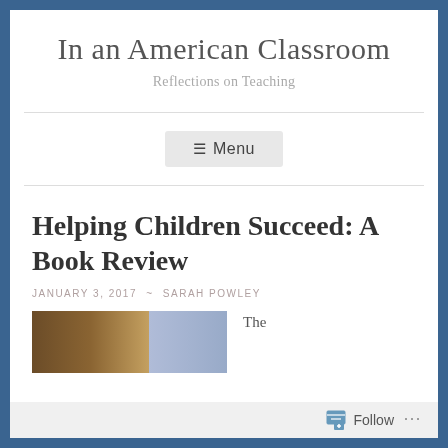In an American Classroom
Reflections on Teaching
Menu
Helping Children Succeed: A Book Review
JANUARY 3, 2017 ~ SARAH POWLEY
[Figure (photo): Partial photo of a classroom or book-related image, partially visible at the bottom of the page]
The
Follow ...